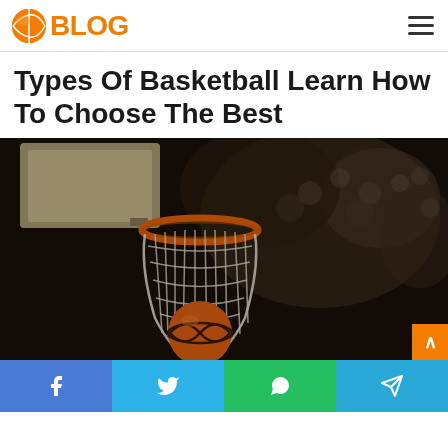BLOG
Types Of Basketball Learn How To Choose The Best
[Figure (photo): Close-up photo of a basketball hoop with net and an orange basketball below it, blurred crowd in background]
Social sharing bar: Facebook, Twitter, WhatsApp, Telegram